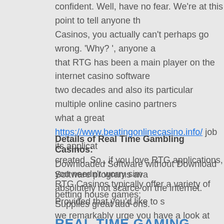confident. Well, have no fear. We're at this point to tell anyone that Casinos, you actually can't perhaps go wrong. 'Why? ', anyone asks, that RTG has been a main player on the internet casino software two decades and also its particular multiple online casino partners what a great https://www.beatingonlinecasino.info/ job its applicat created. So , if you love RTG applications, you needn't worry simp absolutely not scarce on the internet. Provided that you'd like to s we remarkably urge you have a look at our list of performing and casinos above that is able to supply fantastic awareness into of w worth depositing your finances at!
Details of Real Time Gambling Casinos:
Downloaded Software without Download Software programs avai
RTG Casinos typically offer a variety of betting house games;
Supplies great add-ons.
REAL TIME GAMING CASINO SOFTWARE
Actually located in The atlanta area Georgia, RTG eventually m